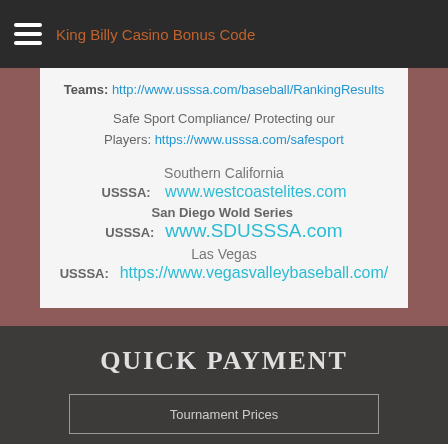King Billy Casino Bonus Code
Teams: http://www.usssa.com/baseball/RankingResults
Safe Sport Compliance/ Protecting our Players: https://www.usssa.com/safesport
Southern California
USSSA: www.westcoastelites.com
San Diego Wold Series  USSSA: www.SDUSSSA.com
Las Vegas
USSSA: https://www.vegasvalleybaseball.com/
QUICK PAYMENT
Tournament Prices